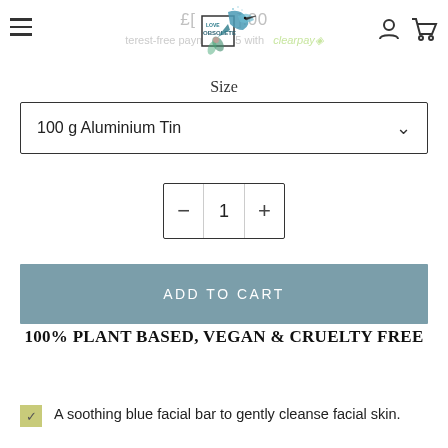[Figure (logo): Love Obsolete brand logo — a decorative illustration of a hummingbird with floral elements inside/around a rectangular border with the text 'LOVE OBSOLETE']
£[price].00
terest-free payments [amount] with clearpay
Size
100 g Aluminium Tin
1
ADD TO CART
100% PLANT BASED, VEGAN & CRUELTY FREE
A soothing blue facial bar to gently cleanse facial skin.